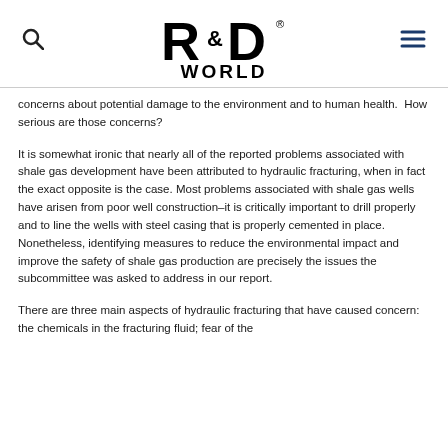R&D WORLD
concerns about potential damage to the environment and to human health.  How serious are those concerns?
It is somewhat ironic that nearly all of the reported problems associated with shale gas development have been attributed to hydraulic fracturing, when in fact the exact opposite is the case. Most problems associated with shale gas wells have arisen from poor well construction–it is critically important to drill properly and to line the wells with steel casing that is properly cemented in place. Nonetheless, identifying measures to reduce the environmental impact and improve the safety of shale gas production are precisely the issues the subcommittee was asked to address in our report.
There are three main aspects of hydraulic fracturing that have caused concern: the chemicals in the fracturing fluid; fear of the